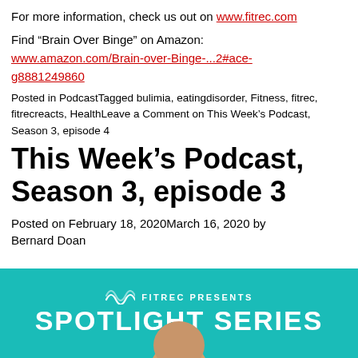For more information, check us out on www.fitrec.com
Find “Brain Over Binge” on Amazon:
www.amazon.com/Brain-over-Binge-...2#ace-g8881249860
Posted in PodcastTagged bulimia, eatingdisorder, Fitness, fitrec, fitrecreacts, HealthLeave a Comment on This Week’s Podcast, Season 3, episode 4
This Week’s Podcast, Season 3, episode 3
Posted on February 18, 2020March 16, 2020 by Bernard Doan
[Figure (photo): Teal/turquoise banner with FITREC PRESENTS SPOTLIGHT SERIES text and a partial photo of a person at the bottom]